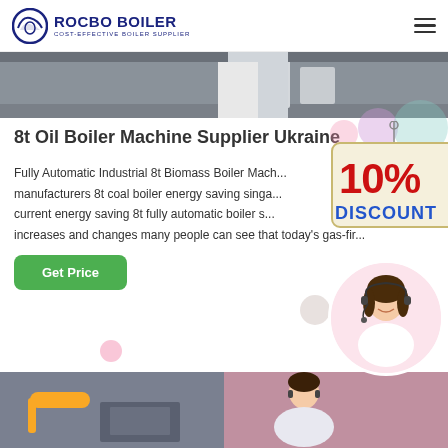ROCBO BOILER - COST-EFFECTIVE BOILER SUPPLIER
[Figure (photo): Industrial boiler equipment in a facility setting, showing white/grey boiler units on a concrete floor]
8t Oil Boiler Machine Supplier Ukraine
Fully Automatic Industrial 8t Biomass Boiler Mach... manufacturers 8t coal boiler energy saving singa... current energy saving 8t fully automatic boiler s... increases and changes many people can see that today's gas-fir...
[Figure (illustration): 10% DISCOUNT badge/sign graphic]
[Figure (photo): Female customer service agent with headset and headphones, smiling]
[Figure (photo): Industrial piping with yellow pipes in a facility]
[Figure (photo): Customer support agent at work]